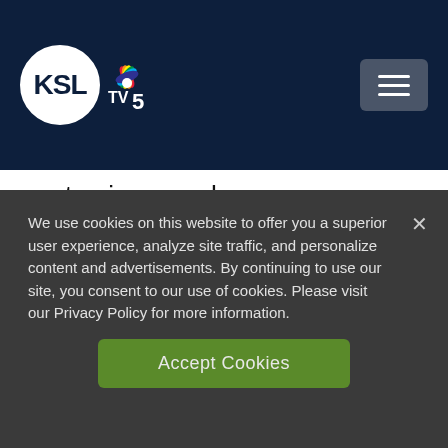[Figure (logo): KSL TV 5 logo with NBC peacock on dark navy header bar with hamburger menu button]
not going anywhere.
Miller said he has lived in is La Mora home for almost 50 years, and he just can't leave it – or his workers – behind.
We use cookies on this website to offer you a superior user experience, analyze site traffic, and personalize content and advertisements. By continuing to use our site, you consent to our use of cookies. Please visit our Privacy Policy for more information.
Accept Cookies